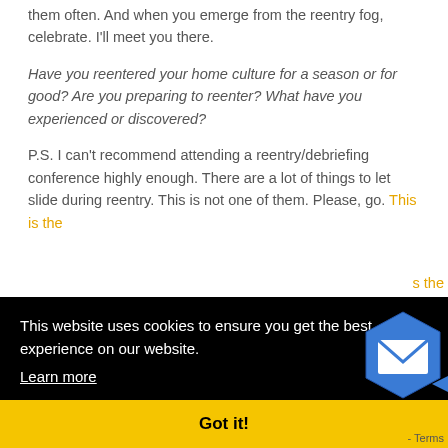them often. And when you emerge from the reentry fog, celebrate. I'll meet you there.
Have you reentered your home culture for a season or for good? Are you preparing to reenter? What have you experienced or discovered?
P.S. I can't recommend attending a reentry/debriefing conference highly enough. There are a lot of things to let slide during reentry. This is not one of them. Please, go. This is the [partial] family [partial] y had
[Figure (other): Cookie consent banner overlay with black background containing text 'This website uses cookies to ensure you get the best experience on our website.' and 'Learn more' link, with yellow 'Got it!' button below]
[Figure (other): Mail/email icon button in blue hexagon shape at bottom right]
- Terms